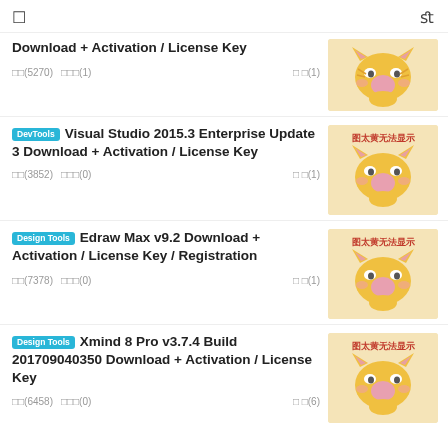☐  fl
Download + Activation / License Key  □□(5270)  □□□(1)  □ □(1)
DevTools  Visual Studio 2015.3 Enterprise Update 3 Download + Activation / License Key  □□(3852)  □□□(0)  □ □(1)
Design Tools  Edraw Max v9.2 Download + Activation / License Key / Registration  □□(7378)  □□□(0)  □ □(1)
Design Tools  Xmind 8 Pro v3.7.4 Build 201709040350 Download + Activation / License Key  □□(6458)  □□□(0)  □ □(6)